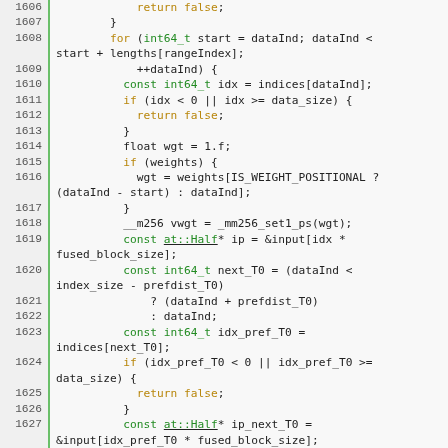[Figure (screenshot): Source code listing in C++ showing lines 1606-1631 with syntax highlighting. Line numbers in left gutter with green vertical bar separator. Keywords in orange/gold, types and identifiers in green, other code in dark/black on light gray background.]